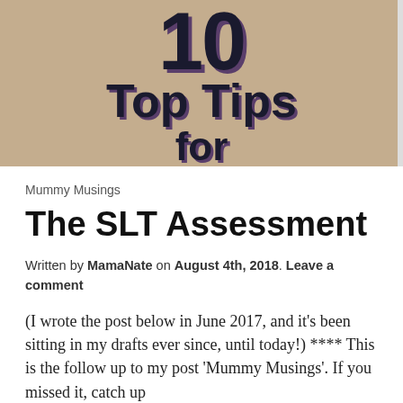[Figure (photo): Photograph of a sign showing '10 Top Tips for' text in bold dark letters on a beige/tan background]
Mummy Musings
The SLT Assessment
Written by MamaNate on August 4th, 2018. Leave a comment
(I wrote the post below in June 2017, and it's been sitting in my drafts ever since, until today!) **** This is the follow up to my post 'Mummy Musings'. If you missed it, catch up